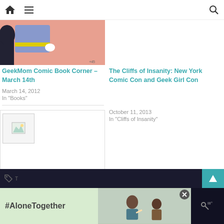Navigation bar with home, menu, and search icons
[Figure (illustration): Partial comic book illustration showing a figure in blue shirt with yellow belt on pink background]
GeekMom Comic Book Corner – March 14th
March 14, 2012
In "Books"
[Figure (illustration): Right column article — no image visible]
The Cliffs of Insanity: New York Comic Con and Geek Girl Con
October 11, 2013
In "Cliffs of Insanity"
[Figure (photo): Broken image placeholder icon for Megacon 2012 article]
Megacon 2012 – DC Comics and Me
March 4, 2012
In "Comic Books"
[Figure (photo): #AloneTogether advertisement banner with photo of father and daughter video calling]
Bottom navigation bar with tag icon